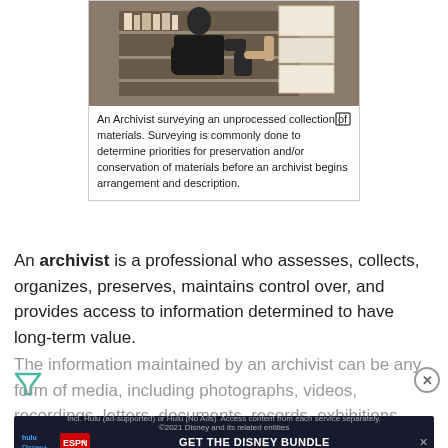[Figure (photo): An archivist surveying shelves of unprocessed archival materials and boxes]
An Archivist surveying an unprocessed collection of materials. Surveying is commonly done to determine priorities for preservation and/or conservation of materials before an archivist begins arrangement and description.
An archivist is a professional who assesses, collects, organizes, preserves, maintains control over, and provides access to information determined to have long-term value.
The information maintained by an archivist can be any form of media, including photographs, videos, recordings, letters, documents, records, exhibitions, and so on. As Richard Pearce-Moses wrote, "Archivists keep records that have enduring value as reliable memories of the past..."